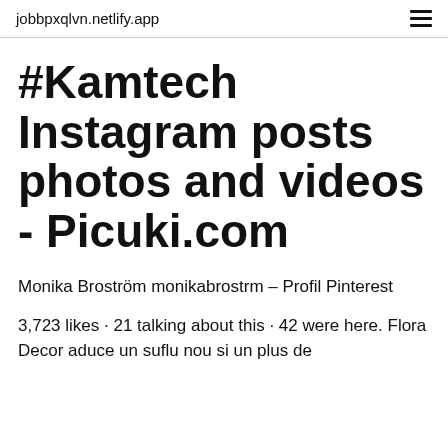jobbpxqlvn.netlify.app
#Kamtech Instagram posts photos and videos - Picuki.com
Monika Broström monikabrostrm – Profil Pinterest
3,723 likes · 21 talking about this · 42 were here. Flora Decor aduce un suflu nou si un plus de